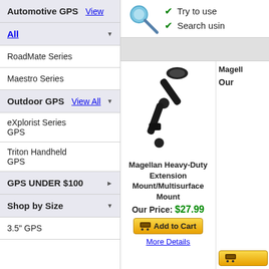[Figure (screenshot): Top right banner with magnifying glass icon and green checkmarks with partial text: 'Try to use...' and 'Search usin...']
Automotive GPS  View
All ▼
RoadMate Series
Maestro Series
Outdoor GPS  View All ▼
eXplorist Series GPS
Triton Handheld GPS
GPS UNDER $100 ►
Shop by Size ▼
3.5" GPS
[Figure (photo): Magellan Heavy-Duty Extension Mount/Multisurface Mount product photo showing a black adjustable arm mount]
Magellan Heavy-Duty Extension Mount/Multisurface Mount
Our Price: $27.99
Add to Cart
More Details
Magell...
Our